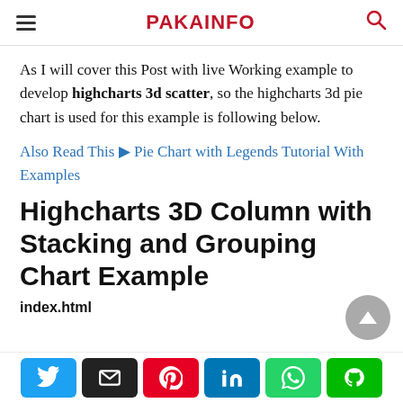PAKAINFO
As I will cover this Post with live Working example to develop highcharts 3d scatter, so the highcharts 3d pie chart is used for this example is following below.
Also Read This ▶ Pie Chart with Legends Tutorial With Examples
Highcharts 3D Column with Stacking and Grouping Chart Example
index.html
[Twitter] [Email] [Pinterest] [LinkedIn] [WhatsApp] [Line]